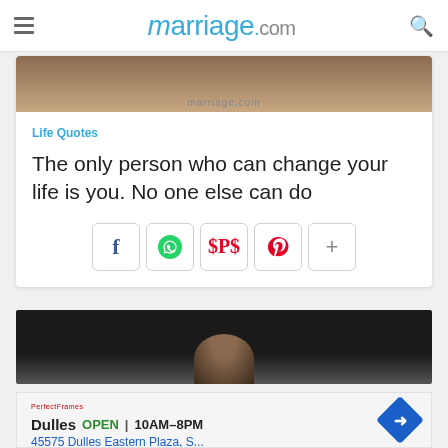marriage.com
Life Quotes
The only person who can change your life is you. No one else can do
[Figure (screenshot): Social share buttons: Facebook, WhatsApp, Pinterest, and a plus button]
[Figure (photo): Dark image of a person against dark background, partially visible]
Dulles OPEN 10AM–8PM 45575 Dulles Eastern Plaza, S...